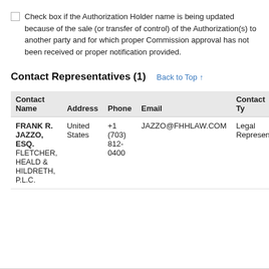Check box if the Authorization Holder name is being updated because of the sale (or transfer of control) of the Authorization(s) to another party and for which proper Commission approval has not been received or proper notification provided.
Contact Representatives (1)
Back to Top ↑
| Contact Name | Address | Phone | Email | Contact Ty |
| --- | --- | --- | --- | --- |
| FRANK R. JAZZO, ESQ.
FLETCHER, HEALD & HILDRETH, P.L.C. | United States | +1 (703) 812-0400 | JAZZO@FHHLAW.COM | Legal Represent... |